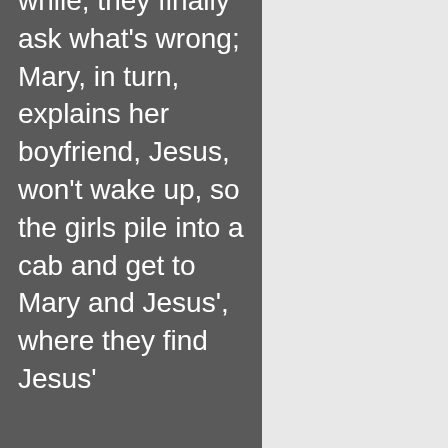while, they finally ask what's wrong; Mary, in turn, explains her boyfriend, Jesus, won't wake up, so the girls pile into a cab and get to Mary and Jesus', where they find Jesus'